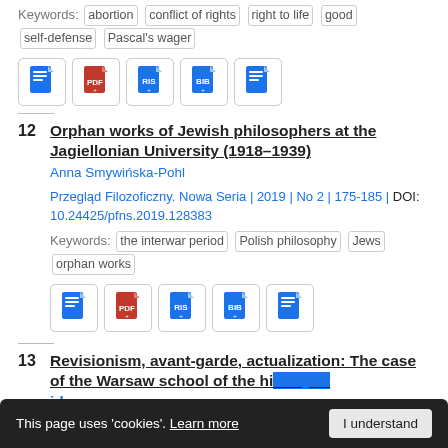Keywords: abortion  conflict of rights  right to life  good  self-defense  Pascal's wager
[Figure (other): Row of 5 document icon buttons (doc, pdf, ris, bib, doc)]
12  Orphan works of Jewish philosophers at the Jagiellonian University (1918–1939)
Anna Smywińska-Pohl
Przegląd Filozoficzny. Nowa Seria | 2019 | No 2 | 175-185 | DOI: 10.24425/pfns.2019.128383
Keywords: the interwar period  Polish philosophy  Jews  orphan works
[Figure (other): Row of 5 document icon buttons (doc, pdf, ris, bib, doc)]
13  Revisionism, avant-garde, actualization: The case of the Warsaw school of the history of ideas
Mirosław Tyl
This page uses 'cookies'. Learn more  I understand